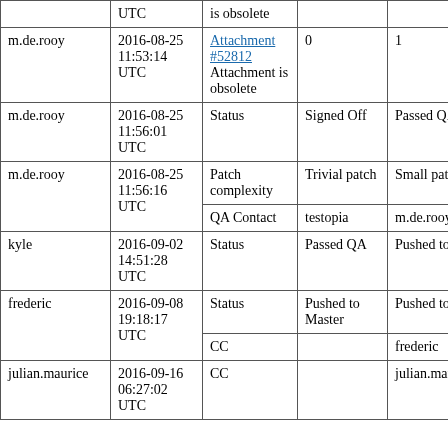| Who | When | What | Removed | Added |
| --- | --- | --- | --- | --- |
|  | UTC | is obsolete |  |  |
| m.de.rooy | 2016-08-25 11:53:14 UTC | Attachment #52812 Attachment is obsolete | 0 | 1 |
| m.de.rooy | 2016-08-25 11:56:01 UTC | Status | Signed Off | Passed QA |
| m.de.rooy | 2016-08-25 11:56:16 UTC | Patch complexity | Trivial patch | Small patch |
| m.de.rooy | 2016-08-25 11:56:16 UTC | QA Contact | testopia | m.de.rooy |
| kyle | 2016-09-02 14:51:28 UTC | Status | Passed QA | Pushed to M… |
| frederic | 2016-09-08 19:18:17 UTC | Status | Pushed to Master | Pushed to St… |
| frederic | 2016-09-08 19:18:17 UTC | CC |  | frederic |
| julian.maurice | 2016-09-16 06:27:02 UTC | CC |  | julian.mauri… |